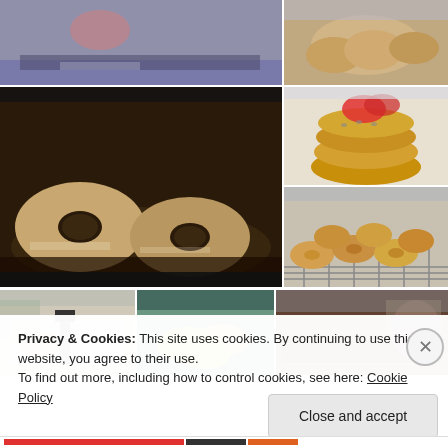[Figure (photo): Top-left photo: food/bakery item on counter, blurry background with purple/blue tones]
[Figure (photo): Top-right photo: baked goods, round bread rolls on a surface]
[Figure (photo): Mid-left large photo: bagels boiling in dark water/pot, close-up]
[Figure (photo): Mid-right top photo: stacked golden bagels with tomato/garnish on top]
[Figure (photo): Mid-right bottom photo: multiple baked bagels/rolls on a cooling rack]
[Figure (photo): Bottom-left photo: food preparation on table with tools]
[Figure (photo): Bottom-center photo: yellow/green items, possibly banana or food ingredients with teal tones]
[Figure (photo): Bottom-right photo: dark baking tray with food item]
Privacy & Cookies: This site uses cookies. By continuing to use this website, you agree to their use.
To find out more, including how to control cookies, see here: Cookie Policy
Close and accept